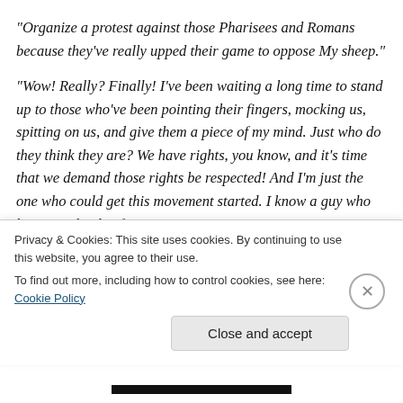“Organize a protest against those Pharisees and Romans because they’ve really upped their game to oppose My sheep.”
“Wow!  Really?  Finally!  I’ve been waiting a long time to stand up to those who’ve been pointing their fingers, mocking us, spitting on us, and give them a piece of my mind.  Just who do they think they are? We have rights, you know, and it’s time that we demand those rights be respected!  And I’m just the one who could get this movement started.  I know a guy who has a stock pile of
Privacy & Cookies: This site uses cookies. By continuing to use this website, you agree to their use.
To find out more, including how to control cookies, see here: Cookie Policy
Close and accept